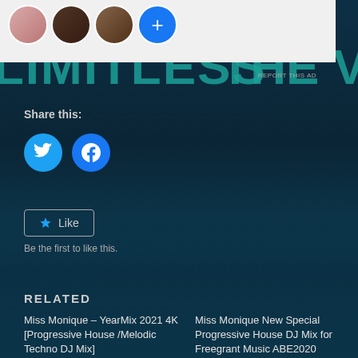[Figure (screenshot): Ad banner at top with profile avatars and a blue plus button on light grey background]
LIMITLESS
THE V
REPORT THIS AD
Share this:
[Figure (illustration): Twitter circular blue icon button]
[Figure (illustration): Facebook circular blue icon button]
Like
Be the first to like this.
RELATED
Miss Monique – YearMix 2021 4K [Progressive House /Melodic Techno DJ Mix]
April 29, 2022
In "Latest"
Miss Monique New Special Progressive House DJ Mix for Freegrant Music ABE2020 Compilation
April 25, 2022
In "Dub Techno + D House"